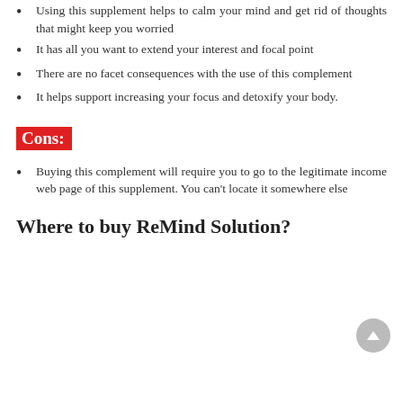Using this supplement helps to calm your mind and get rid of thoughts that might keep you worried
It has all you want to extend your interest and focal point
There are no facet consequences with the use of this complement
It helps support increasing your focus and detoxify your body.
Cons:
Buying this complement will require you to go to the legitimate income web page of this supplement. You can't locate it somewhere else
Where to buy ReMind Solution?